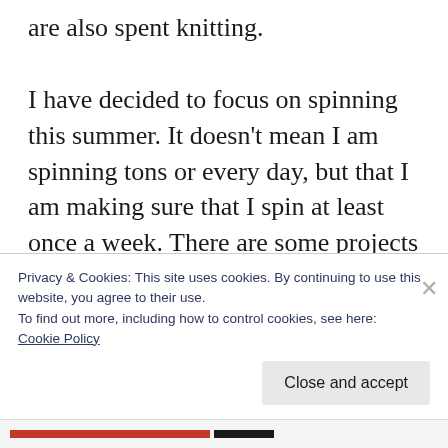are also spent knitting.

I have decided to focus on spinning this summer. It doesn't mean I am spinning tons or every day, but that I am making sure that I spin at least once a week. There are some projects I want to spin the yarn for, and it won't happen if I don't sit at the wheel. So far I am more than halfway through 15 ounces of merino silk blend, and I love the yarn it is making! I hope to get enough for a sweater – maybe a short
Privacy & Cookies: This site uses cookies. By continuing to use this website, you agree to their use.
To find out more, including how to control cookies, see here:
Cookie Policy
Close and accept